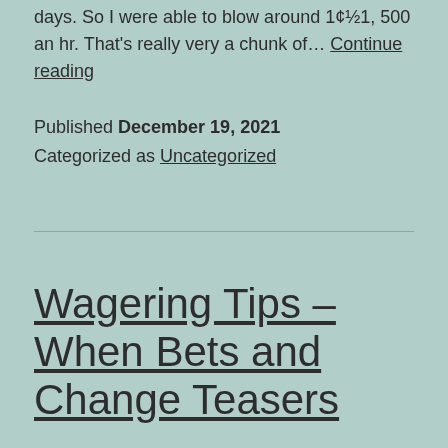days. So I were able to blow around 1¢½1, 500 an hr. That's really very a chunk of… Continue reading
Published December 19, 2021
Categorized as Uncategorized
Wagering Tips – When Bets and Change Teasers